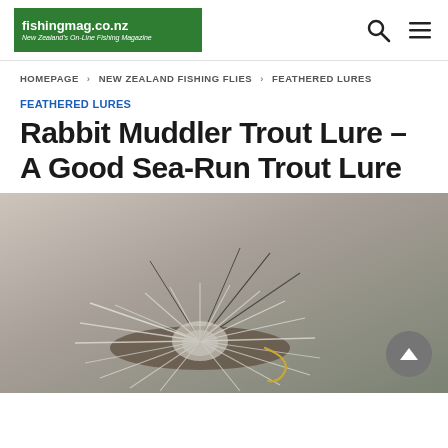fishingmag.co.nz — New Zealand's On-Line Fishing Magazine
HOMEPAGE › NEW ZEALAND FISHING FLIES › FEATHERED LURES
FEATHERED LURES
Rabbit Muddler Trout Lure – A Good Sea-Run Trout Lure
[Figure (photo): Close-up photograph of a Rabbit Muddler trout fishing fly lure with fluffy white/grey fibres and dark feathers on a blurred grey background]